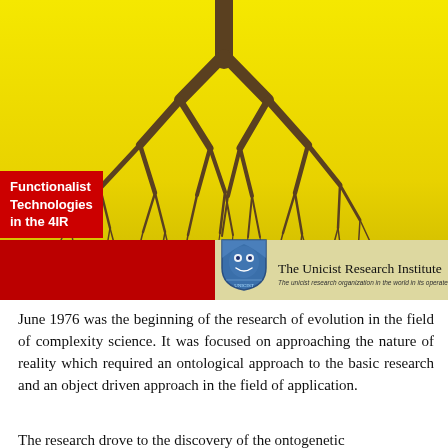[Figure (illustration): Yellow-background cover image with a dark brown branching tree/lung structure. Red label 'Functionalist Technologies in the 4IR' on lower left. Shield logo and 'The Unicist Research Institute' text on a cream bar at the bottom of the image.]
June 1976 was the beginning of the research of evolution in the field of complexity science. It was focused on approaching the nature of reality which required an ontological approach to the basic research and an object driven approach in the field of application.
The research drove to the discovery of the ontogenetic